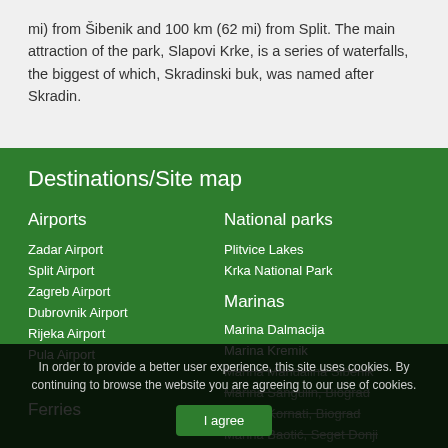mi) from Šibenik and 100 km (62 mi) from Split. The main attraction of the park, Slapovi Krke, is a series of waterfalls, the biggest of which, Skradinski buk, was named after Skradin.
Destinations/Site map
Airports
National parks
Zadar Airport
Plitvice Lakes
Split Airport
Krka National Park
Zagreb Airport
Dubrovnik Airport
Marinas
Rijeka Airport
Marina Dalmacija
Pula Airport
Marina Kremik
Marina Mandalina Šibenik
Marina Sangulin, Biograd
Marina Kornati, Biograd
Marina Baotić, Seget Donji
Ferries
City
In order to provide a better user experience, this site uses cookies. By continuing to browse the website you are agreeing to our use of cookies.